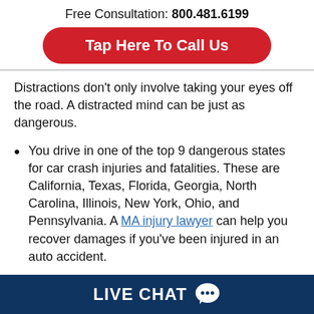Free Consultation: 800.481.6199
Tap Here To Call Us
Distractions don't only involve taking your eyes off the road. A distracted mind can be just as dangerous.
You drive in one of the top 9 dangerous states for car crash injuries and fatalities. These are California, Texas, Florida, Georgia, North Carolina, Illinois, New York, Ohio, and Pennsylvania. A MA injury lawyer can help you recover damages if you've been injured in an auto accident.
You drive a pickup, and you live out in the
LIVE CHAT